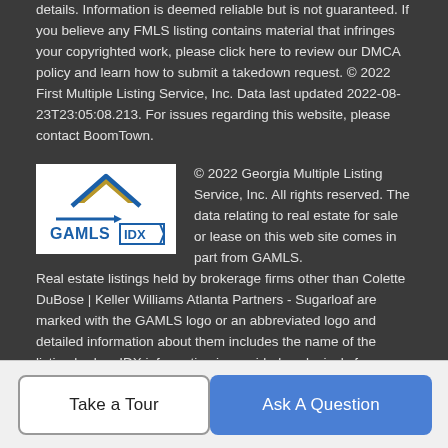details. Information is deemed reliable but is not guaranteed. If you believe any FMLS listing contains material that infringes your copyrighted work, please click here to review our DMCA policy and learn how to submit a takedown request. © 2022 First Multiple Listing Service, Inc. Data last updated 2022-08-23T23:05:08.213. For issues regarding this website, please contact BoomTown.
[Figure (logo): GAMLS IDX logo — Georgia Multiple Listing Service logo with roof/arrow icon in blue and gold on white background, text GAMLS IDX in blue with arrows]
© 2022 Georgia Multiple Listing Service, Inc. All rights reserved. The data relating to real estate for sale or lease on this web site comes in part from GAMLS. Real estate listings held by brokerage firms other than Colette DuBose | Keller Williams Atlanta Partners - Sugarloaf are marked with the GAMLS logo or an abbreviated logo and detailed information about them includes the name of the listing broker. IDX information is provided exclusively for consumers' personal, non-commercial use and may not be used for any purpose other than to identify prospective properties consumers may be interested in purchasing. Information
Take a Tour
Ask A Question